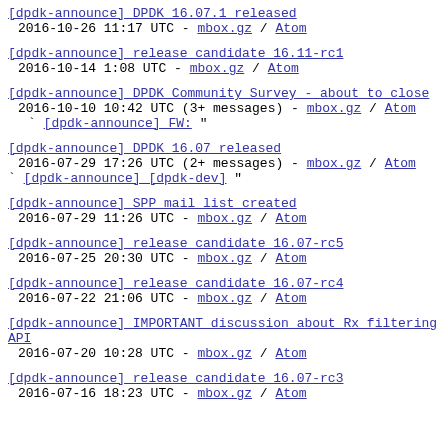[dpdk-announce] DPDK 16.07.1 released
  2016-10-26 11:17 UTC  - mbox.gz / Atom
[dpdk-announce] release candidate 16.11-rc1
  2016-10-14  1:08 UTC  - mbox.gz / Atom
[dpdk-announce] DPDK Community Survey - about to close
  2016-10-10 10:42 UTC  (3+ messages) - mbox.gz / Atom
  ` [dpdk-announce] FW: "
[dpdk-announce] DPDK 16.07 released
  2016-07-29 17:26 UTC  (2+ messages) - mbox.gz / Atom
` [dpdk-announce] [dpdk-dev] "
[dpdk-announce] SPP mail list created
  2016-07-29 11:26 UTC  - mbox.gz / Atom
[dpdk-announce] release candidate 16.07-rc5
  2016-07-25 20:30 UTC  - mbox.gz / Atom
[dpdk-announce] release candidate 16.07-rc4
  2016-07-22 21:06 UTC  - mbox.gz / Atom
[dpdk-announce] IMPORTANT discussion about Rx filtering API
  2016-07-20 10:28 UTC  - mbox.gz / Atom
[dpdk-announce] release candidate 16.07-rc3
  2016-07-16 18:23 UTC  - mbox.gz / Atom